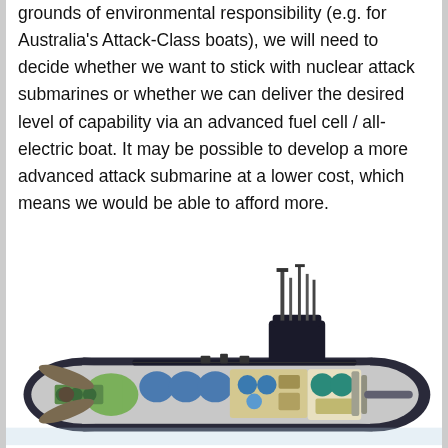grounds of environmental responsibility (e.g. for Australia's Attack-Class boats), we will need to decide whether we want to stick with nuclear attack submarines or whether we can deliver the desired level of capability via an advanced fuel cell / all-electric boat. It may be possible to develop a more advanced attack submarine at a lower cost, which means we would be able to afford more.
[Figure (illustration): Cutaway illustration of a submarine showing internal compartments including propulsion systems, crew quarters, ballast tanks, masts and periscopes, machinery, and torpedo systems.]